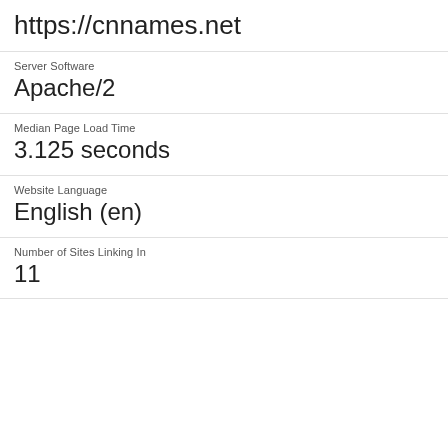https://cnnames.net
Server Software
Apache/2
Median Page Load Time
3.125 seconds
Website Language
English (en)
Number of Sites Linking In
11